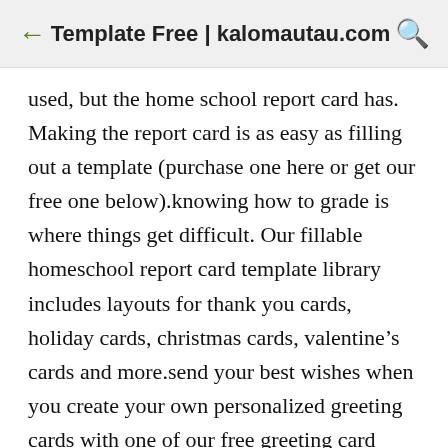Template Free | kalomautau.com
used, but the home school report card has. Making the report card is as easy as filling out a template (purchase one here or get our free one below).knowing how to grade is where things get difficult. Our fillable homeschool report card template library includes layouts for thank you cards, holiday cards, christmas cards, valentine’s cards and more.send your best wishes when you create your own personalized greeting cards with one of our free greeting card design templates.
Handphone tablet desktop (original size) another thing that you will need when using a